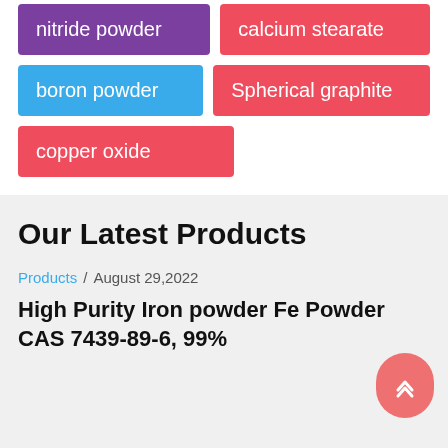nitride powder
calcium stearate
boron powder
Spherical graphite
copper oxide
Our Latest Products
Products / August 29,2022
High Purity Iron powder Fe Powder CAS 7439-89-6, 99%